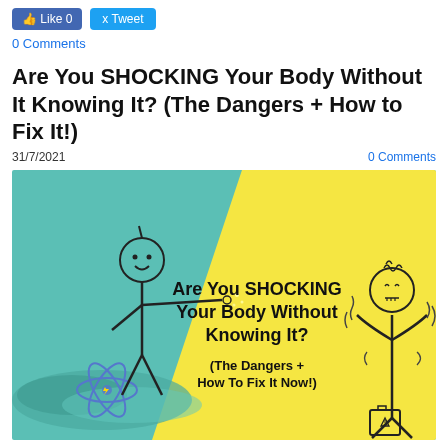Like 0   Tweet
0 Comments
Are You SHOCKING Your Body Without It Knowing It? (The Dangers + How to Fix It!)
31/7/2021   0 Comments
[Figure (illustration): Infographic illustration with two stick figures on a teal and yellow background. Left side teal: a smiling stick figure pointing right with an atom/electron symbol at feet and wavy blue shapes. Right side yellow: a stick figure with a distressed face with wavy lines indicating shock/energy, holding a hazard warning bag. Text in center reads: Are You SHOCKING Your Body Without Knowing It? (The Dangers + How To Fix It Now!)]